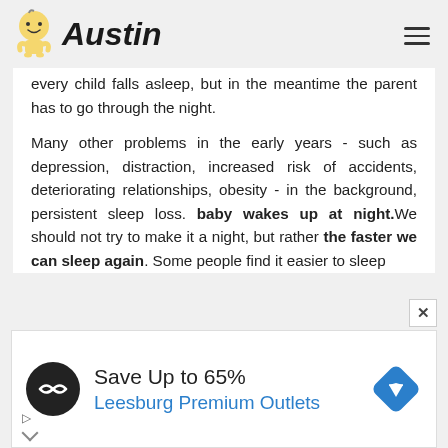Austin
every child falls asleep, but in the meantime the parent has to go through the night.

Many other problems in the early years - such as depression, distraction, increased risk of accidents, deteriorating relationships, obesity - in the background, persistent sleep loss. baby wakes up at night.We should not try to make it a night, but rather the faster we can sleep again. Some people find it easier to sleep
[Figure (infographic): Advertisement banner: Save Up to 65% Leesburg Premium Outlets with logo and navigation icon]